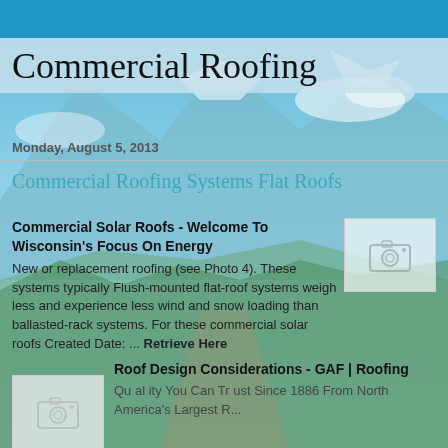Commercial Roofing
Monday, August 5, 2013
Commercial Roofing Systems Flat Roofs
Commercial Solar Roofs - Welcome To Wisconsin's Focus On Energy
New or replacement roofing (see Photo 4). These systems typically Flush-mounted flat-roof systems weigh less and experience less wind and snow loading than ballasted-rack systems. For these commercial solar roofs Created Date: ... Retrieve Here
[Figure (photo): Placeholder photo thumbnail with camera icon]
Roof Design Considerations - GAF | Roofing
Qu al ity You Can Tr ust Since 1886 From North America's Largest R...
[Figure (photo): Placeholder photo thumbnail with camera icon]